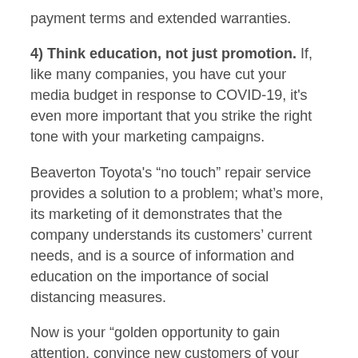payment terms and extended warranties.
4) Think education, not just promotion. If, like many companies, you have cut your media budget in response to COVID-19, it's even more important that you strike the right tone with your marketing campaigns.
Beaverton Toyota's “no touch” repair service provides a solution to a problem; what's more, its marketing of it demonstrates that the company understands its customers’ current needs, and is a source of information and education on the importance of social distancing measures.
Now is your “golden opportunity to gain attention, convince new customers of your value, and turn nascent purchasing patterns for your brands into sustained postcrisis buying behaviour.”